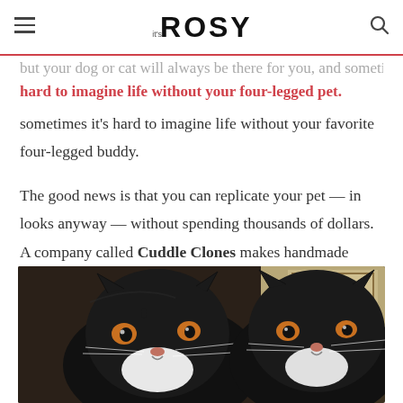it's ROSY
sometimes it's hard to imagine life without your favorite four-legged buddy.
The good news is that you can replicate your pet — in looks anyway — without spending thousands of dollars. A company called Cuddle Clones makes handmade stuffies customized to look exactly like your pet.
[Figure (photo): Two black and white flat-faced Persian or Exotic Shorthair cats side by side, both with orange eyes and dark fur, one real cat and one stuffed animal replica]